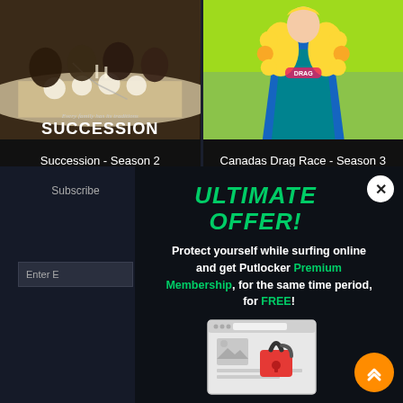[Figure (screenshot): Succession Season 2 TV show poster — group of people at a dining table with 'Every family has its traditions' and 'SUCCESSION' text overlay]
Succession - Season 2
[Figure (screenshot): Canada's Drag Race Season 3 promotional image — person in colorful yellow fur and teal outfit against green background]
Canadas Drag Race - Season 3
Subscribe
Enter E
ULTIMATE OFFER!
Protect yourself while surfing online and get Putlocker Premium Membership, for the same time period, for FREE!
[Figure (illustration): Browser window with unlocked padlock icon illustration]
Other Brands